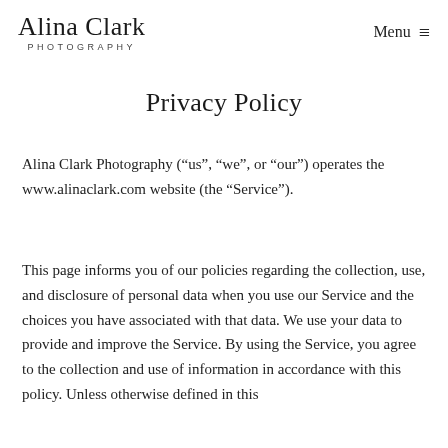Alina Clark Photography — Menu
Privacy Policy
Alina Clark Photography (“us”, “we”, or “our”) operates the www.alinaclark.com website (the “Service”).
This page informs you of our policies regarding the collection, use, and disclosure of personal data when you use our Service and the choices you have associated with that data. We use your data to provide and improve the Service. By using the Service, you agree to the collection and use of information in accordance with this policy. Unless otherwise defined in this